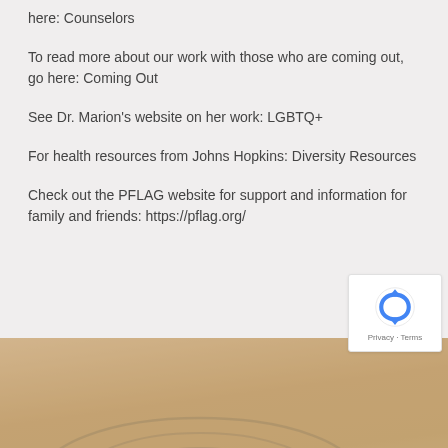here: Counselors
To read more about our work with those who are coming out, go here: Coming Out
See Dr. Marion's website on her work: LGBTQ+
For health resources from Johns Hopkins: Diversity Resources
Check out the PFLAG website for support and information for family and friends: https://pflag.org/
[Figure (photo): Sandy surface with concentric circles drawn in sand, bottom portion of the page]